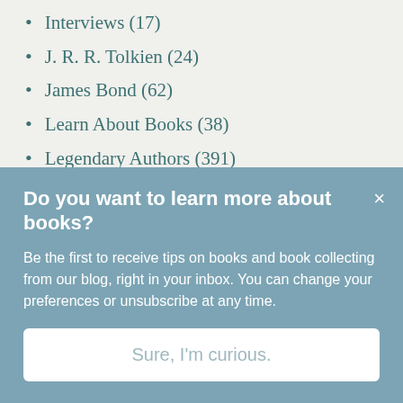Interviews (17)
J. R. R. Tolkien (24)
James Bond (62)
Learn About Books (38)
Legendary Authors (391)
Legendary Illustrators (60)
Libraries (7)
Libraries & Special Collections (72)
Literary travel (85)
Literature (476)
Magical Realism (1)
Do you want to learn more about books?
Be the first to receive tips on books and book collecting from our blog, right in your inbox. You can change your preferences or unsubscribe at any time.
Sure, I'm curious.